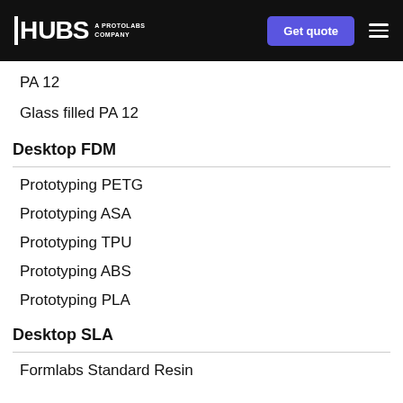HUBS A PROTOLABS COMPANY | Get quote
PA 12
Glass filled PA 12
Desktop FDM
Prototyping PETG
Prototyping ASA
Prototyping TPU
Prototyping ABS
Prototyping PLA
Desktop SLA
Formlabs Standard Resin